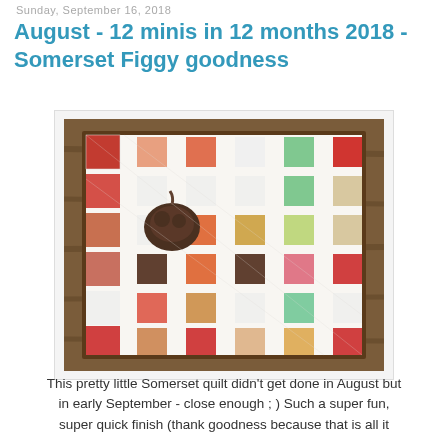Sunday, September 16, 2018
August - 12 minis in 12 months 2018 - Somerset Figgy goodness
[Figure (photo): A patchwork mini quilt with colorful squares in an alternating pattern on a white background with a dark brown border, displayed on a wooden surface with a small decorative brown pumpkin placed on top.]
This pretty little Somerset quilt didn't get done in August but in early September - close enough ; ) Such a super fun, super quick finish (thank goodness because that is all it